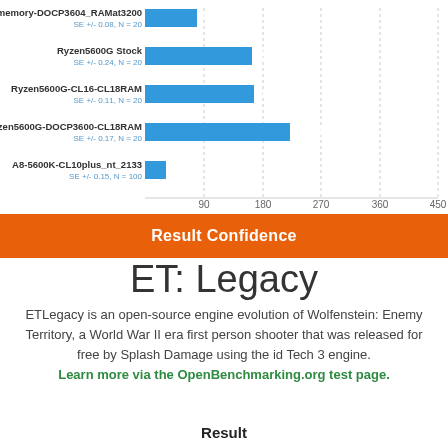[Figure (bar-chart): ]
Result Confidence
ET: Legacy
ETLegacy is an open-source engine evolution of Wolfenstein: Enemy Territory, a World War II era first person shooter that was released for free by Splash Damage using the id Tech 3 engine. Learn more via the OpenBenchmarking.org test page.
Result